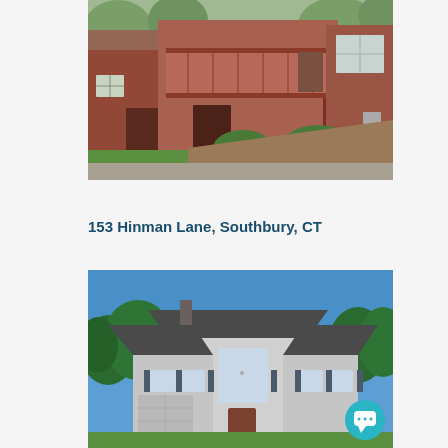[Figure (photo): Exterior photo of a brick and wood-siding multi-unit residential building with a balcony, garage door, green lawn, and trimmed hedges.]
153 Hinman Lane, Southbury, CT
[Figure (photo): Exterior photo of a large two-story colonial-style home with gray stucco siding, arched window, dark roof, and surrounding trees under a blue sky. A teal chat bubble icon appears in the lower right corner.]